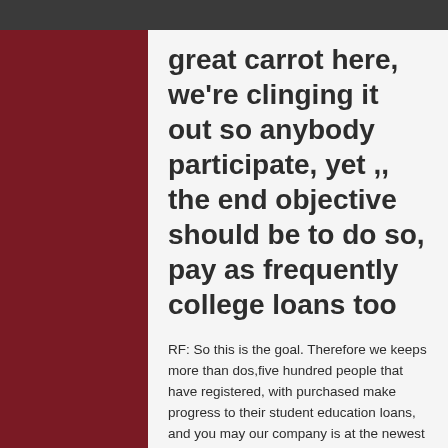great carrot here, we're clinging it out so anybody participate, yet ,, the end objective should be to do so, pay as frequently college loans too
RF: So this is the goal. Therefore we keeps more than dos,five hundred people that have registered, with purchased make progress to their student education loans, and you may our company is at the newest midway part of month, and you may we've already cleared $eight hundred,100 within the student loan financial obligation that is repaid. That will be the target are, simply how much do we shell out. My personal objective is so many however, I really hope to pay off one to.
JA: So you are simply saying, hi,